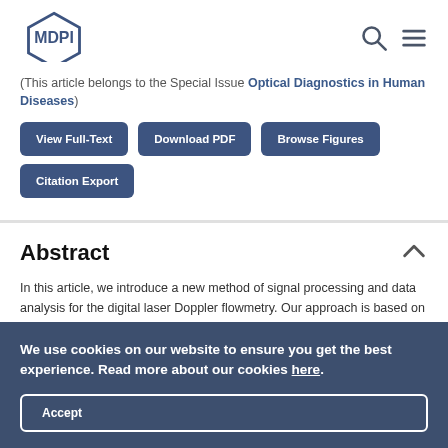[Figure (logo): MDPI hexagonal logo with text MDPI inside]
(This article belongs to the Special Issue Optical Diagnostics in Human Diseases)
View Full-Text | Download PDF | Browse Figures | Citation Export
Abstract
In this article, we introduce a new method of signal processing and data analysis for the digital laser Doppler flowmetry. Our approach is based on the calculation of cumulative sums over the registered...
We use cookies on our website to ensure you get the best experience. Read more about our cookies here.
Accept